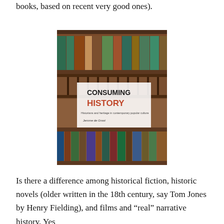books, based on recent very good ones).
[Figure (photo): Book cover of 'Consuming History: Historians and heritage in contemporary popular culture' by Jerome de Groot, showing library shelves with books in the background.]
Is there a difference among historical fiction, historic novels (older written in the 18th century, say Tom Jones by Henry Fielding), and films and “real” narrative history. Yes